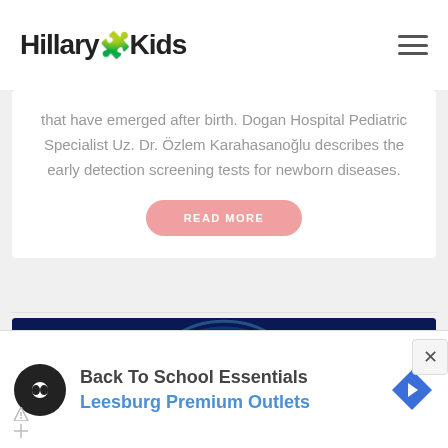[Figure (logo): HillaryKids logo with emoji and hamburger menu icon]
that have emerged after birth. Dogan Hospital Pediatric Specialist Uz. Dr. Özlem Karahasanoğlu describes the early detection screening tests for newborn diseases.
READ MORE
[Figure (photo): Glowing blue brain held in hands against dark blue background]
[Figure (infographic): Advertisement banner: Back To School Essentials, Leesburg Premium Outlets, with infinity logo and navigation arrow icon]